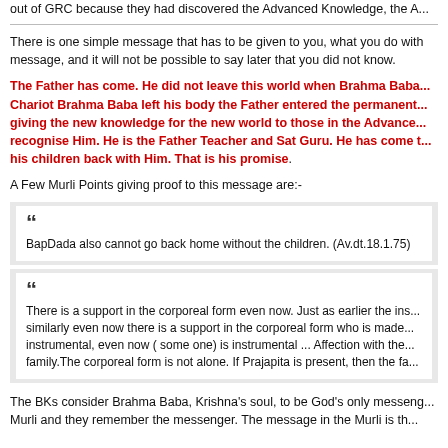out of GRC because they had discovered the Advanced Knowledge, the A...
There is one simple message that has to be given to you, what you do with message, and it will not be possible to say later that you did not know.
The Father has come. He did not leave this world when Brahma Baba... Chariot Brahma Baba left his body the Father entered the permanent... giving the new knowledge for the new world to those in the Advance... recognise Him. He is the Father Teacher and Sat Guru. He has come t... his children back with Him. That is his promise.
A Few Murli Points giving proof to this message are:-
BapDada also cannot go back home without the children. (Av.dt.18.1.75)
There is a support in the corporeal form even now. Just as earlier the ins... similarly even now there is a support in the corporeal form who is made... instrumental, even now ( some one) is instrumental ... Affection with the... family.The corporeal form is not alone. If Prajapita is present, then the fa...
The BKs consider Brahma Baba, Krishna's soul, to be God's only messeng... Murli and they remember the messenger. The message in the Murli is th...